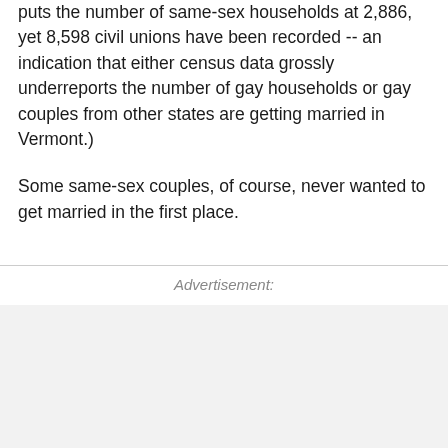puts the number of same-sex households at 2,886, yet 8,598 civil unions have been recorded -- an indication that either census data grossly underreports the number of gay households or gay couples from other states are getting married in Vermont.)
Some same-sex couples, of course, never wanted to get married in the first place.
Advertisement: